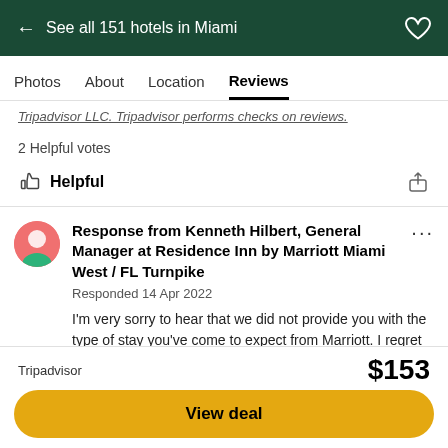← See all 151 hotels in Miami
Photos   About   Location   Reviews
Tripadvisor LLC. Tripadvisor performs checks on reviews.
2 Helpful votes
Helpful
Response from Kenneth Hilbert, General Manager at Residence Inn by Marriott Miami West / FL Turnpike
Responded 14 Apr 2022
I'm very sorry to hear that we did not provide you with the type of stay you've come to expect from Marriott. I regret our lapse in housekeeping
Read more
Tripadvisor  $153  View deal